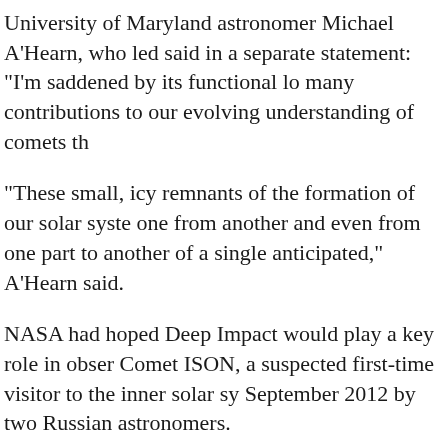University of Maryland astronomer Michael A'Hearn, who led said in a separate statement: "I'm saddened by its functional lo many contributions to our evolving understanding of comets th
"These small, icy remnants of the formation of our solar syste one from another and even from one part to another of a single anticipated," A'Hearn said.
NASA had hoped Deep Impact would play a key role in obser Comet ISON, a suspected first-time visitor to the inner solar sy September 2012 by two Russian astronomers.
The comet is heading toward a close encounter with the sun in not survive.
Later this month, NASA's Mars Curiosity rover and Mars Rec to catch a glimpse of the comet as it flies by Mars.